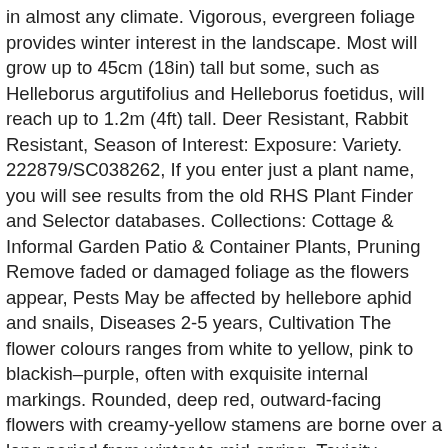in almost any climate. Vigorous, evergreen foliage provides winter interest in the landscape. Most will grow up to 45cm (18in) tall but some, such as Helleborus argutifolius and Helleborus foetidus, will reach up to 1.2m (4ft) tall. Deer Resistant, Rabbit Resistant, Season of Interest: Exposure: Variety. 222879/SC038262, If you enter just a plant name, you will see results from the old RHS Plant Finder and Selector databases. Collections: Cottage & Informal Garden Patio & Container Plants, Pruning Remove faded or damaged foliage as the flowers appear, Pests May be affected by hellebore aphid and snails, Diseases 2-5 years, Cultivation The flower colours ranges from white to yellow, pink to blackish–purple, often with exquisite internal markings. Rounded, deep red, outward-facing flowers with creamy-yellow stamens are borne over a long period from winter to mid-spring, Toxicity Ingestion may cause severe discomfort, All ratings refer to the UK growing conditions unless otherwise stated. Large, bowl-shaped flowers are borne in loose clusters in late winter or spring, Details suppliers. They are poisonous, keeping diseases and pests at bay, and very hardy in almost any climate. Single, Landscape Uses: Different varieties of the hellebore plant offer a range of flower colors, from white to black. Synonyms Helleborus 'Coseh 4100' . HGC® Ice N' Roses® Red Hellebore features showy nodding red cup-shaped flowers with buttery yellow eyes and purple streaks at the ends of the stems from late winter to early spring. Many varieties will for years and bloom. Everyone is...